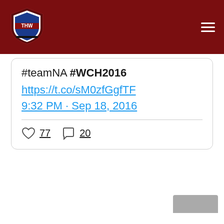[Figure (logo): THW hockey advocate badge logo in red, white and blue shield]
#teamNA #WCH2016 https://t.co/sM0zfGgfTF 9:32 PM · Sep 18, 2016
77 likes, 20 comments